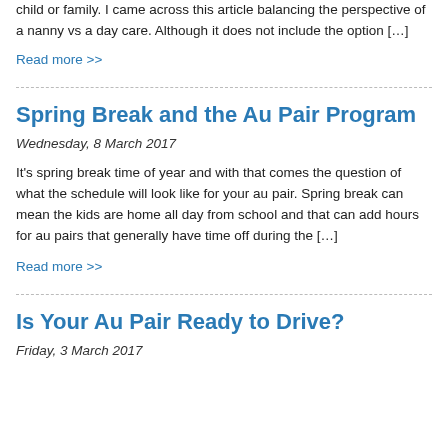child or family.  I came across this article balancing the perspective of a nanny vs a day care. Although it does not include the option […]
Read more >>
Spring Break and the Au Pair Program
Wednesday, 8 March 2017
It's spring break time of year and with that comes the question of what the schedule will look like for your au pair.    Spring break can mean the kids are home all day from school and that can add hours for au pairs that generally have time off during the […]
Read more >>
Is Your Au Pair Ready to Drive?
Friday, 3 March 2017